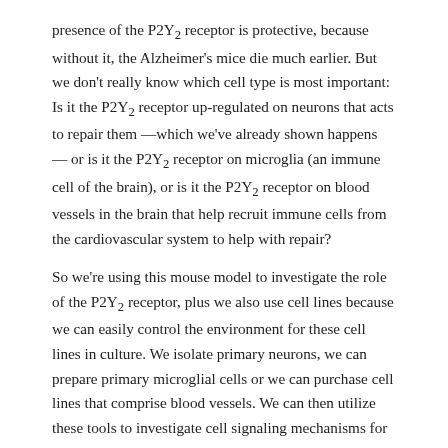presence of the P2Y2 receptor is protective, because without it, the Alzheimer's mice die much earlier. But we don't really know which cell type is most important: Is it the P2Y2 receptor up-regulated on neurons that acts to repair them —which we've already shown happens — or is it the P2Y2 receptor on microglia (an immune cell of the brain), or is it the P2Y2 receptor on blood vessels in the brain that help recruit immune cells from the cardiovascular system to help with repair?
So we're using this mouse model to investigate the role of the P2Y2 receptor, plus we also use cell lines because we can easily control the environment for these cell lines in culture. We isolate primary neurons, we can prepare primary microglial cells or we can purchase cell lines that comprise blood vessels. We can then utilize these tools to investigate cell signaling mechanisms for the P2Y2 receptor in individual cell types.
LUKE: One of the findings that we have found interesting in these primary cells is when you take them fresh out of the mouse, put them in a dish and then treat them as you wish. We've shown